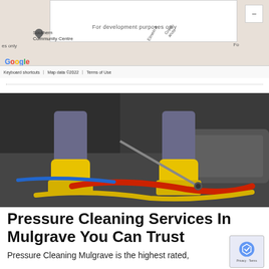[Figure (screenshot): Google Maps embed showing Southern Community Centre area with 'For development purposes only' watermark, map footer with Keyboard shortcuts, Map data ©2022, Terms of Use]
[Figure (photo): Person wearing yellow rubber boots and grey work clothes using a pressure washer with red and yellow hoses on a dark concrete/metal surface]
Pressure Cleaning Services In Mulgrave You Can Trust
Pressure Cleaning Mulgrave is the highest rated,